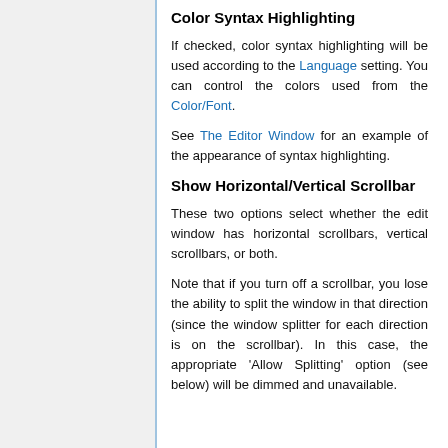Color Syntax Highlighting
If checked, color syntax highlighting will be used according to the Language setting. You can control the colors used from the Color/Font.
See The Editor Window for an example of the appearance of syntax highlighting.
Show Horizontal/Vertical Scrollbar
These two options select whether the edit window has horizontal scrollbars, vertical scrollbars, or both.
Note that if you turn off a scrollbar, you lose the ability to split the window in that direction (since the window splitter for each direction is on the scrollbar). In this case, the appropriate 'Allow Splitting' option (see below) will be dimmed and unavailable.